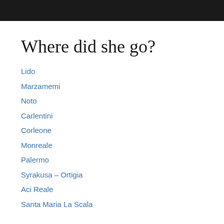Where did she go?
Lido
Marzamemi
Noto
Carlentini
Corleone
Monreale
Palermo
Syrakusa – Ortigia
Aci Reale
Santa Maria La Scala